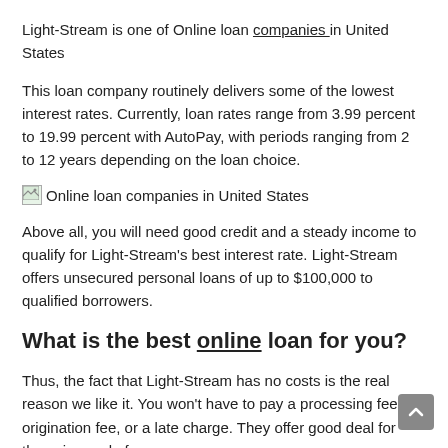Light-Stream is one of Online loan companies in United States
This loan company routinely delivers some of the lowest interest rates. Currently, loan rates range from 3.99 percent to 19.99 percent with AutoPay, with periods ranging from 2 to 12 years depending on the loan choice.
[Figure (other): Broken image placeholder with alt text: Online loan companies in United States]
Above all, you will need good credit and a steady income to qualify for Light-Stream's best interest rate. Light-Stream offers unsecured personal loans of up to $100,000 to qualified borrowers.
What is the best online loan for you?
Thus, the fact that Light-Stream has no costs is the real reason we like it. You won't have to pay a processing fee, an origination fee, or a late charge. They offer good deal for those in need of